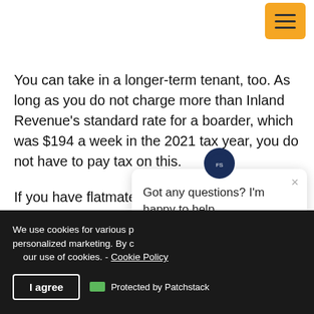[Figure (other): Orange hamburger menu button in the top-right corner of the page]
You can take in a longer-term tenant, too. As long as you do not charge more than Inland Revenue's standard rate for a boarder, which was $194 a week in the 2021 tax year, you do not have to pay tax on this.
If you have flatmates, yo... income you get from the...
Got any questions? I'm happy to help.
We use cookies for various p... personalized marketing. By c... our use of cookies. - Cookie Policy
I agree
Protected by Patchstack